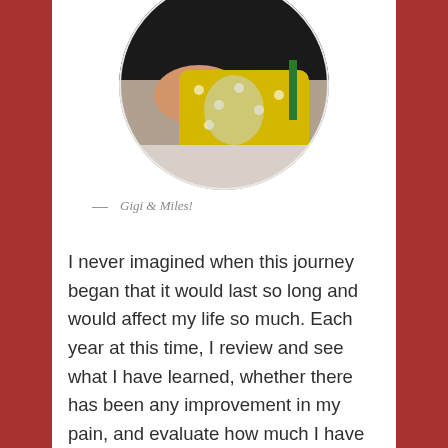[Figure (photo): Circular cropped photo showing a person holding a baby wrapped in a yellow polka-dot blanket]
— Gigi & Miles!
I never imagined when this journey began that it would last so long and would affect my life so much. Each year at this time, I review and see what I have learned, whether there has been any improvement in my pain, and evaluate how much I have been able to help others who are not so far down this road. I have